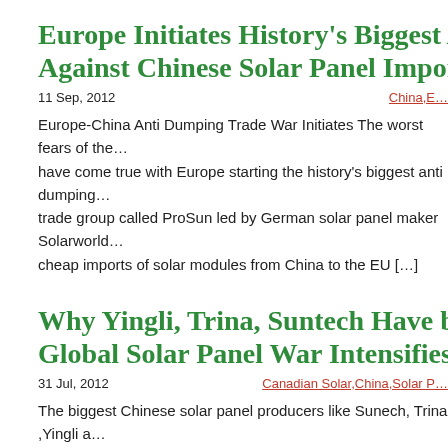Europe Initiates History's Biggest Anti-d… Against Chinese Solar Panel Imports of 2…
11 Sep, 2012
China,E…
Europe-China Anti Dumping Trade War Initiates The worst fears of the… have come true with Europe starting the history's biggest anti dumping… trade group called ProSun led by German solar panel maker Solarworld… cheap imports of solar modules from China to the EU […]
Why Yingli, Trina, Suntech Have become… Global Solar Panel War Intensifies
31 Jul, 2012
Canadian Solar,China,Solar P…
The biggest Chinese solar panel producers like Sunech, Trina ,Yingli a… out strongly against the recent filing of a complaint of dumping of Chi… Solarworld which is the biggest German solar panel company has led a… companies in filing a complaint against […]